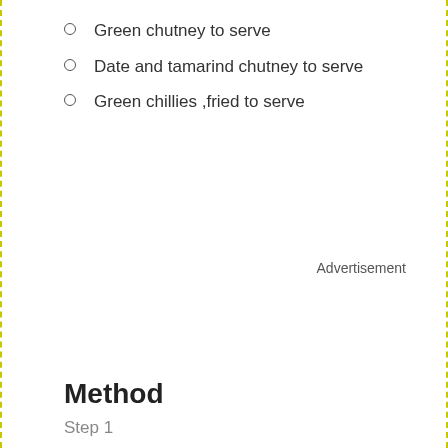Green chutney to serve
Date and tamarind chutney to serve
Green chillies ,fried to serve
Advertisement
Method
Step 1